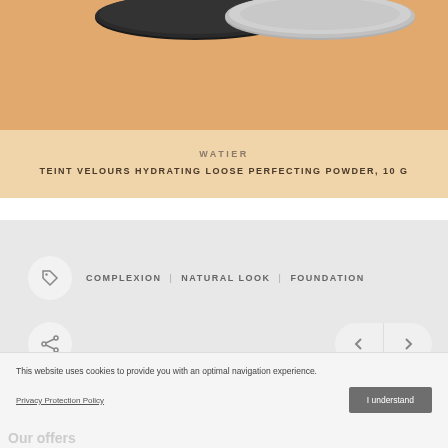[Figure (photo): Product image showing compact powder containers/lids on an orange-tan background]
WATIER
TEINT VELOURS HYDRATING LOOSE PERFECTING POWDER, 10 G
COMPLEXION  |  NATURAL LOOK  |  FOUNDATION
This website uses cookies to provide you with an optimal navigation experience.
Privacy Protection Policy
I understand
Our offers